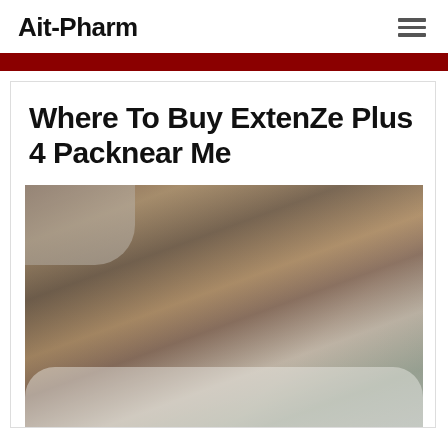Ait-Pharm
Where To Buy ExtenZe Plus 4 Packnear Me
[Figure (photo): A woman with tattooed arm and long brown/blonde hair leaning over a man lying face down on a bed with pillows and light-colored bedsheets]